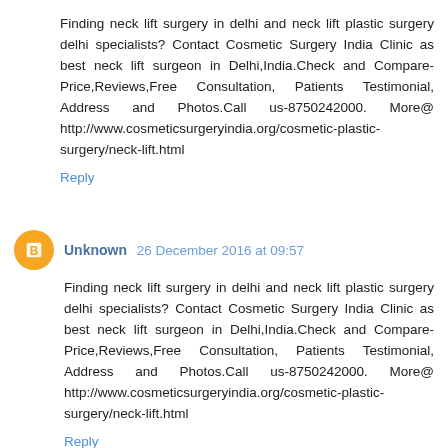Finding neck lift surgery in delhi and neck lift plastic surgery delhi specialists? Contact Cosmetic Surgery India Clinic as best neck lift surgeon in Delhi,India.Check and Compare- Price,Reviews,Free Consultation, Patients Testimonial, Address and Photos.Call us-8750242000. More@ http://www.cosmeticsurgeryindia.org/cosmetic-plastic-surgery/neck-lift.html
Reply
Unknown 26 December 2016 at 09:57
Finding neck lift surgery in delhi and neck lift plastic surgery delhi specialists? Contact Cosmetic Surgery India Clinic as best neck lift surgeon in Delhi,India.Check and Compare- Price,Reviews,Free Consultation, Patients Testimonial, Address and Photos.Call us-8750242000. More@ http://www.cosmeticsurgeryindia.org/cosmetic-plastic-surgery/neck-lift.html
Reply